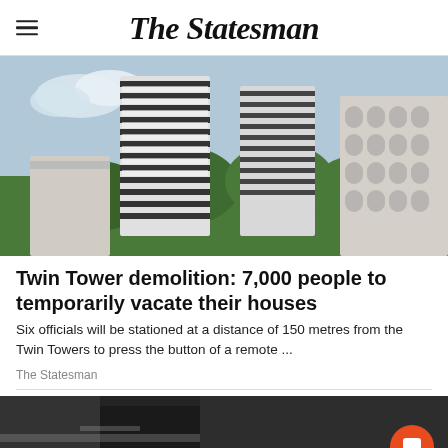The Statesman
[Figure (photo): Aerial view of the Supertech Twin Towers, tall multi-storey buildings with horizontal banded facade, surrounded by trees and another building in the background]
Twin Tower demolition: 7,000 people to temporarily vacate their houses
Six officials will be stationed at a distance of 150 metres from the Twin Towers to press the button of a remote ...
The Statesman
[Figure (photo): Close-up of a black luxury sports car, partially visible, with a chat/feedback button overlay in orange]